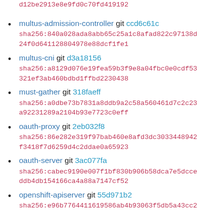(partial) d12be2913e8e9fd0c70fd419192
multus-admission-controller git ccd6c61c sha256:840a028ada8abb65c25a1c8afad822c97138d24f0d641128804978e88dcf1fe1
multus-cni git d3a18156 sha256:a8129d076e19fea59b3f9e8a04fbc0e0cdf53321ef3ab460bdbd1ffbd2230438
must-gather git 318faeff sha256:a0dbe73b7831a8ddb9a2c58a560461d7c2c23a92231289a2104b93e7723c0eff
oauth-proxy git 2eb032f8 sha256:86e282e319f97bab460e8afd3dc3033448942f3418f7d6259d4c2ddae0a65923
oauth-server git 3ac077fa sha256:cabec9190e007f1bf830b906b58dca7e5dcceddb4db154166ca4a88a7147cf52
openshift-apiserver git 55d971b2 sha256:e96b7764411619586ab4b93063f5db5a43cc2 (partial)